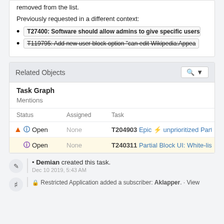removed from the list.
Previously requested in a different context:
T27400: Software should allow admins to give specific users per
T119795: Add new user block option "can edit Wikipedia:Appea
Related Objects
Task Graph
Mentions
| Status | Assigned | Task |
| --- | --- | --- |
| Open | None | T204903 Epic ⚡ unprioritized Partial Blocks |
| Open | None | T240311 Partial Block UI: White-list of page |
Demian created this task.
Dec 10 2019, 5:43 AM
Restricted Application added a subscriber: Aklapper. · View